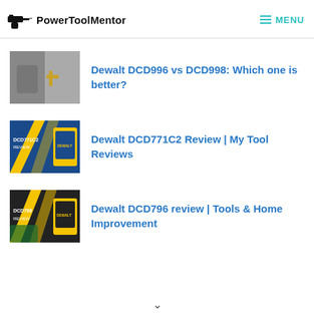PowerToolMentor — MENU
Dewalt DCD996 vs DCD998: Which one is better?
Dewalt DCD771C2 Review | My Tool Reviews
Dewalt DCD796 review | Tools & Home Improvement